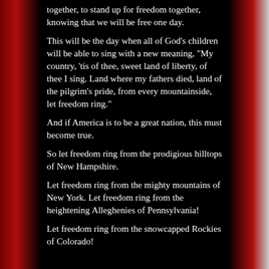together, to stand up for freedom together, knowing that we will be free one day.
This will be the day when all of God's children will be able to sing with a new meaning, "My country, 'tis of thee, sweet land of liberty, of thee I sing. Land where my fathers died, land of the pilgrim's pride, from every mountainside, let freedom ring."
And if America is to be a great nation, this must become true.
So let freedom ring from the prodigious hilltops of New Hampshire.
Let freedom ring from the mighty mountains of New York. Let freedom ring from the heightening Alleghenies of Pennsylvania!
Let freedom ring from the snowcapped Rockies of Colorado!